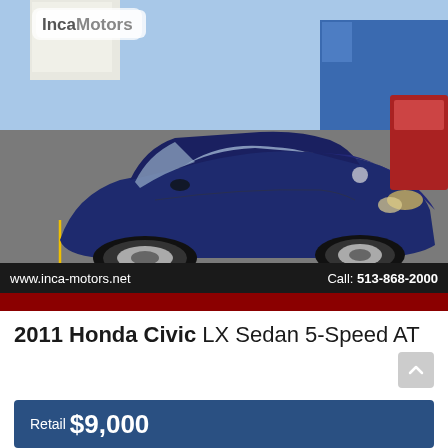[Figure (photo): Blue 2011 Honda Civic LX Sedan photographed in a parking lot at a car dealership. The car faces toward the viewer at a slight angle. Blue sky and dealership building visible in background. Inca Motors logo watermark in top-left corner.]
www.inca-motors.net   Call: 513-868-2000
2011 Honda Civic LX Sedan 5-Speed AT
Retail $9,000